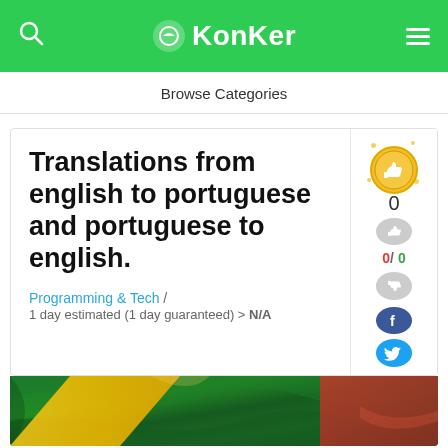KonKer
Browse Categories
Translations from english to portuguese and portuguese to english.
Programming & Tech /
1 day estimated (1 day guaranteed) > N/A
[Figure (photo): Brazilian and other flags photo used as decorative image strip]
[Figure (infographic): Gold medal/thumbs-up badge with vote count 0, upvote/downvote buttons showing 0/0, and social sharing buttons for Facebook and Twitter]